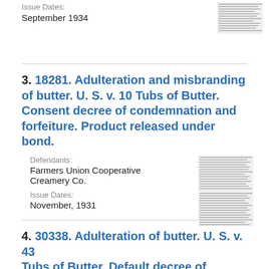Issue Dates:
September 1934
3. 18281. Adulteration and misbranding of butter. U. S. v. 10 Tubs of Butter. Consent decree of condemnation and forfeiture. Product released under bond.
Defendants:
Farmers Union Cooperative Creamery Co.
Issue Dates:
November, 1931
4. 30338. Adulteration of butter. U. S. v. 43 Tubs of Butter. Default decree of